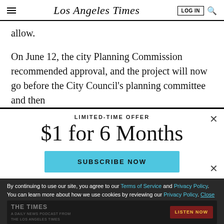Los Angeles Times
allow.
On June 12, the city Planning Commission recommended approval, and the project will now go before the City Council’s planning committee and then
LIMITED-TIME OFFER
$1 for 6 Months
SUBSCRIBE NOW
By continuing to use our site, you agree to our Terms of Service and Privacy Policy. You can learn more about how we use cookies by reviewing our Privacy Policy. Close